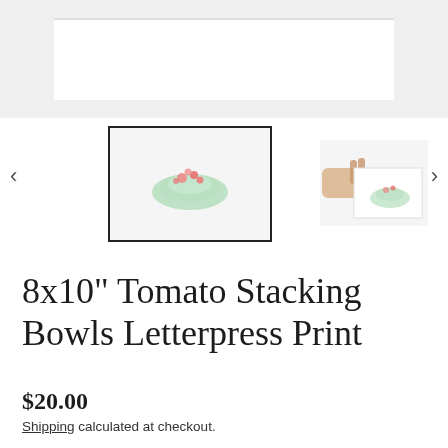[Figure (photo): Top portion of a product image showing a letterpress print on a white surface against a light gray background]
[Figure (photo): Selected thumbnail (with black border) of Tomato Stacking Bowls letterpress print showing colorful bowl illustration on white paper]
[Figure (photo): Second thumbnail showing a hand holding the Tomato Stacking Bowls letterpress print]
8x10" Tomato Stacking Bowls Letterpress Print
$20.00
Shipping calculated at checkout.